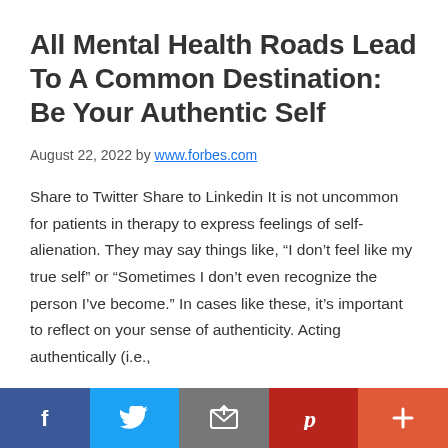All Mental Health Roads Lead To A Common Destination: Be Your Authentic Self
August 22, 2022 by www.forbes.com
Share to Twitter Share to Linkedin It is not uncommon for patients in therapy to express feelings of self-alienation. They may say things like, “I don’t feel like my true self” or “Sometimes I don’t even recognize the person I’ve become.” In cases like these, it’s important to reflect on your sense of authenticity. Acting authentically (i.e.,
[Figure (infographic): Social media sharing bar with five buttons: Facebook (blue), Twitter (light blue), Email (grey), Pinterest (dark red), and More/Plus (orange-red)]